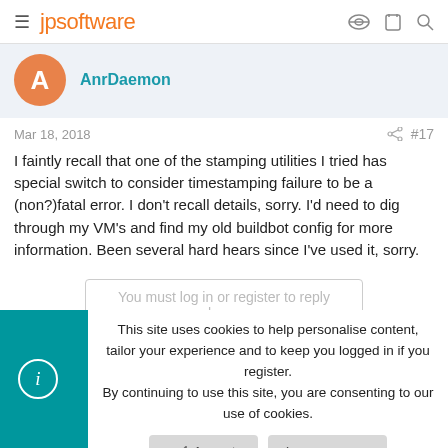jpsoftware
AnrDaemon
Mar 18, 2018  #17
I faintly recall that one of the stamping utilities I tried has special switch to consider timestamping failure to be a (non?)fatal error. I don't recall details, sorry. I'd need to dig through my VM's and find my old buildbot config for more information. Been several hard hears since I've used it, sorry.
You must log in or register to reply here.
This site uses cookies to help personalise content, tailor your experience and to keep you logged in if you register. By continuing to use this site, you are consenting to our use of cookies.
Accept
Learn more...